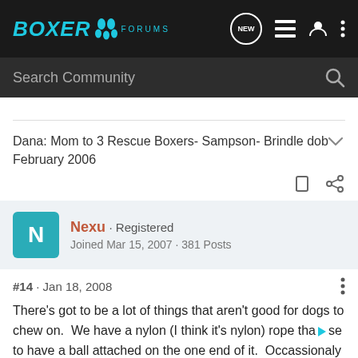[Figure (logo): Boxer Forums logo with teal paw print icon on dark background nav bar with NEW button, list icon, user icon, and more options icon]
Search Community
Dana: Mom to 3 Rescue Boxers- Sampson- Brindle dob February 2006
Nexu · Registered
Joined Mar 15, 2007 · 381 Posts
#14 · Jan 18, 2008
There's got to be a lot of things that aren't good for dogs to chew on.  We have a nylon (I think it's nylon) rope that use to have a ball attached on the one end of it.  Occassionaly Lola will...